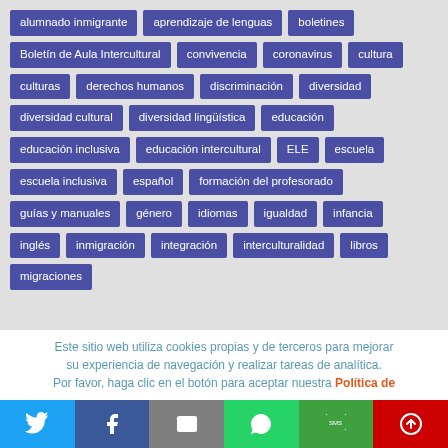[Figure (infographic): Tag cloud / keyword list with Spanish education and intercultural topics displayed as purple rectangular badges on a light grey background. Tags include: alumnado inmigrante, aprendizaje de lenguas, boletines, Boletín de Aula Intercultural, convivencia, coronavirus, cultura, culturas, derechos humanos, discriminación, diversidad, diversidad cultural, diversidad lingüística, educación, educación inclusiva, educación intercultural, ELE, escuela, escuela inclusiva, español, formación del profesorado, guías y manuales, género, idiomas, igualdad, infancia, inglés, inmigración, integración, interculturalidad, libros, migraciones]
Este sitio web utiliza cookies propias y de terceros para mejorar su experiencia de navegación y realizar tareas de analítica. Por favor, haga clic en el botón para aceptar nuestra Política de
[Figure (infographic): Social sharing bar with icons for Twitter, Facebook, Email, WhatsApp, SMS, and share (red circle arrow). Colours: blue, dark blue, grey, green, dark green, red.]